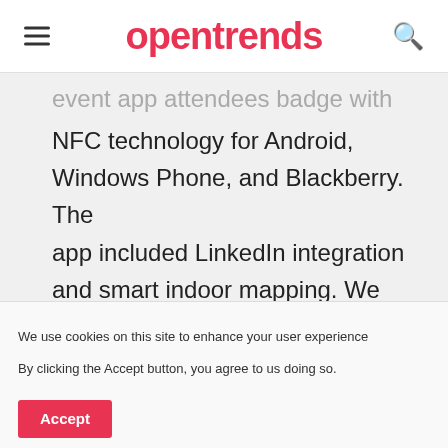opentrends
event app attendees badge with NFC technology for Android, Windows Phone, and Blackberry. The app included LinkedIn integration and smart indoor mapping. We enhanced the experience for 100k+ international attendees.
Thingtia IoT platform for Smart Cities: We have made several cloud implementations of Thingtia IoT
We use cookies on this site to enhance your user experience By clicking the Accept button, you agree to us doing so.